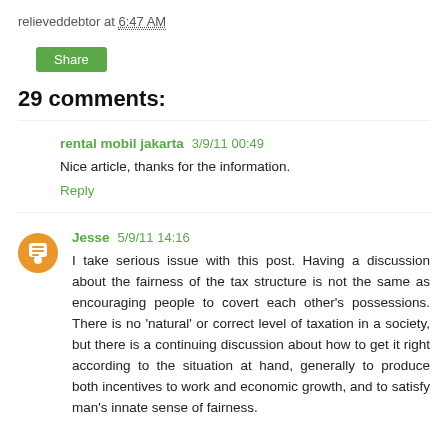relieveddebtor at 6:47 AM
Share
29 comments:
rental mobil jakarta 3/9/11 00:49
Nice article, thanks for the information.
Reply
Jesse 5/9/11 14:16
I take serious issue with this post. Having a discussion about the fairness of the tax structure is not the same as encouraging people to covert each other's possessions. There is no 'natural' or correct level of taxation in a society, but there is a continuing discussion about how to get it right according to the situation at hand, generally to produce both incentives to work and economic growth, and to satisfy man's innate sense of fairness.